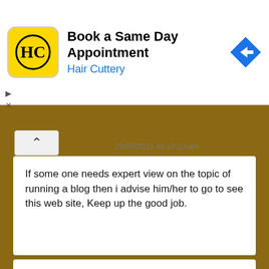[Figure (screenshot): Hair Cuttery advertisement banner with logo, title 'Book a Same Day Appointment', subtitle 'Hair Cuttery', and a blue navigation arrow icon.]
23/08/2021 às 12:13 am
If some one needs expert view on the topic of running a blog then i advise him/her to go to see this web site, Keep up the good job.
ps4 games a disse:
23/08/2021 às 8:49 am
Thanks for sharing such a good idea, article is nice, thats why i have read it fully